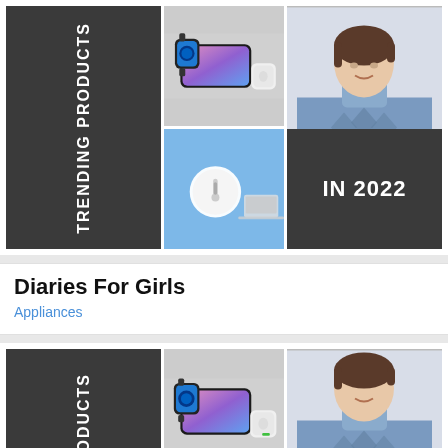[Figure (infographic): Trending Products in 2022 collage: dark panel with 'TRENDING PRODUCTS' vertical text, wireless charging pad with Apple Watch and earbuds on phone, woman wearing blue turtleneck sweater holding earbuds, circular white device on blue background, dark panel with 'IN 2022' text]
Diaries For Girls
Appliances
[Figure (infographic): Second partial trending products collage: dark panel with 'DING PRODUCTS' vertical text (cut off), wireless charger collage image, woman in blue turtleneck, partial bottom row with two smaller panels]